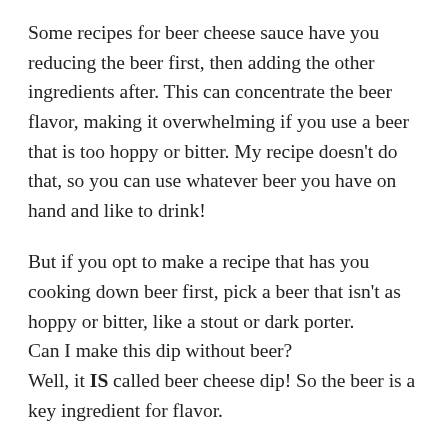Some recipes for beer cheese sauce have you reducing the beer first, then adding the other ingredients after. This can concentrate the beer flavor, making it overwhelming if you use a beer that is too hoppy or bitter. My recipe doesn't do that, so you can use whatever beer you have on hand and like to drink!
But if you opt to make a recipe that has you cooking down beer first, pick a beer that isn't as hoppy or bitter, like a stout or dark porter.
Can I make this dip without beer?
Well, it IS called beer cheese dip! So the beer is a key ingredient for flavor.
But if you're looking for a non-alcoholic version of this dip, you can either substitute the beer with non-alcoholic beer,